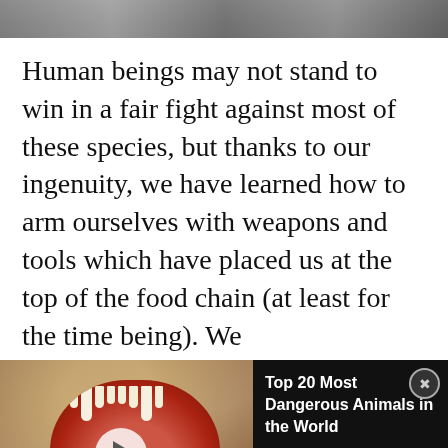[Figure (photo): Top portion of a black and white photograph, cropped, showing figures from waist down]
Human beings may not stand to win in a fair fight against most of these species, but thanks to our ingenuity, we have learned how to arm ourselves with weapons and tools which have placed us at the top of the food chain (at least for the time being). We
[Figure (screenshot): Video player overlay showing a bear with open mouth, WatchMojo Top 20 Most Dangerous Animals in the World video thumbnail with play button, mojo badge, close button]
when we take our destruction is unique. No
othe
[Figure (screenshot): BitLife advertisement bar: Real Choices with emojis]
blas